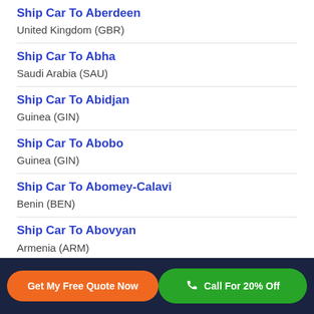Ship Car To Aberdeen
United Kingdom (GBR)
Ship Car To Abha
Saudi Arabia (SAU)
Ship Car To Abidjan
Guinea (GIN)
Ship Car To Abobo
Guinea (GIN)
Ship Car To Abomey-Calavi
Benin (BEN)
Ship Car To Abovyan
Armenia (ARM)
Ship Car To Abu Dhabi
United Arab Emirates (ARE)
Get My Free Quote Now   Call For 20% Off